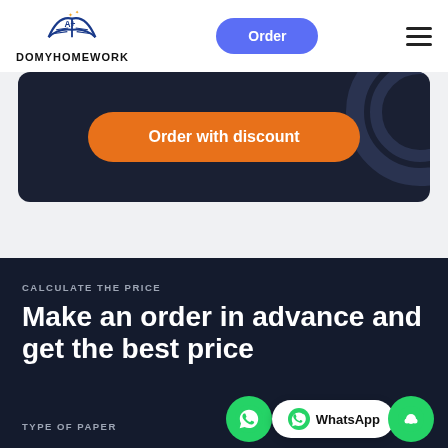[Figure (logo): DoMyHomework logo with open book and A+ symbol above text DOMYHOMEWORK]
Order
[Figure (illustration): Dark navy banner with orange rounded button labeled Order with discount and decorative circles on right]
Order with discount
CALCULATE THE PRICE
Make an order in advance and get the best price
TYPE OF PAPER
[Figure (other): WhatsApp floating button showing WhatsApp icon, text WhatsApp, and green chat bubble icon]